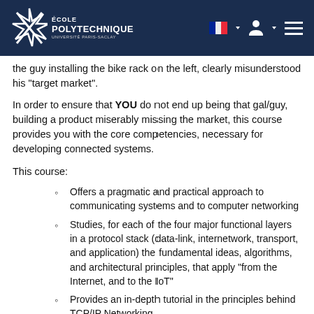École Polytechnique - Université Paris-Saclay
the guy installing the bike rack on the left, clearly misunderstood his "target market".
In order to ensure that YOU do not end up being that gal/guy, building a product miserably missing the market, this course provides you with the core competencies, necessary for developing connected systems.
This course:
Offers a pragmatic and practical approach to communicating systems and to computer networking
Studies, for each of the four major functional layers in a protocol stack (data-link, internetwork, transport, and application) the fundamental ideas, algorithms, and architectural principles, that apply "from the Internet, and to the IoT"
Provides an in-depth tutorial in the principles behind TCP/IP Networking